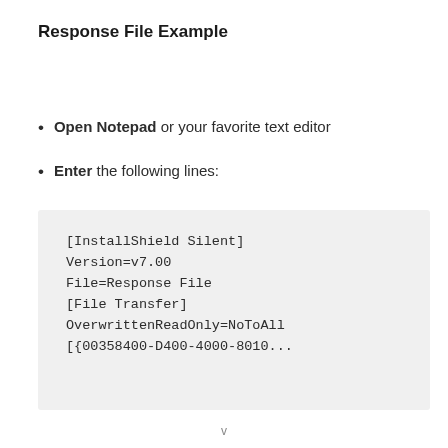Response File Example
Open Notepad or your favorite text editor
Enter the following lines:
[InstallShield Silent]
Version=v7.00
File=Response File
[File Transfer]
OverwrittenReadOnly=NoToAll
[{00358400-D400-4000-8010...